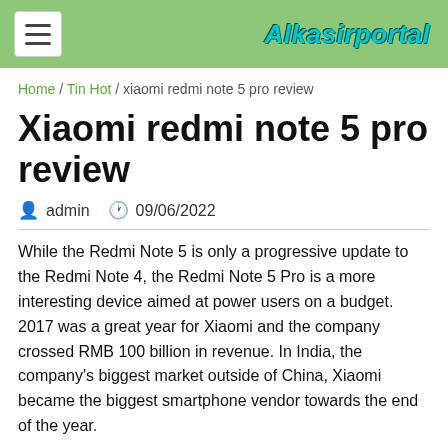Alkasirportal
Home / Tin Hot / xiaomi redmi note 5 pro review
Xiaomi redmi note 5 pro review
admin   09/06/2022
While the Redmi Note 5 is only a progressive update to the Redmi Note 4, the Redmi Note 5 Pro is a more interesting device aimed at power users on a budget.
2017 was a great year for Xiaomi and the company crossed RMB 100 billion in revenue. In India, the company's biggest market outside of China, Xiaomi became the biggest smartphone vendor towards the end of the year.